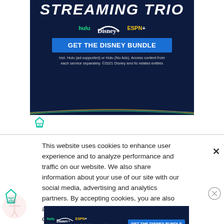[Figure (screenshot): Disney Bundle streaming ad banner showing 'STREAMING TRIO' title, Hulu, Disney+, ESPN+ logos, 'GET THE DISNEY BUNDLE' button, and disclaimer text on dark navy background]
[Figure (logo): Freestar advertising network icon (teal triangle/funnel logo)]
This website uses cookies to enhance user experience and to analyze performance and traffic on our website. We also share information about your use of our site with our social media, advertising and analytics partners. By accepting cookies, you are also agreeing to accept our site terms and conditions. Terms & Conditions
[Figure (screenshot): Disney Bundle streaming ad banner (smaller) showing Hulu, Disney+, ESPN+ logos and GET THE DISNEY BUNDLE button]